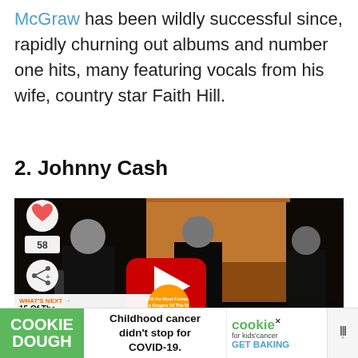McGraw has been wildly successful since, rapidly churning out albums and number one hits, many featuring vocals from his wife, country star Faith Hill.
2. Johnny Cash
[Figure (screenshot): YouTube video embed showing Johnny Cash and band performing, with heart/like button showing 58 count, share button, and a 'What's Next' overlay showing '15 Of The Greatest An...' with an orange circular thumbnail. A red YouTube play button is centered on the video.]
[Figure (advertisement): Advertisement bar: 'COOKIE DOUGH' in green on left, 'Childhood cancer didn't stop for COVID-19.' in center, 'cookies for kids cancer GET BAKING' on right with close button, and weather/logo icon on far right.]